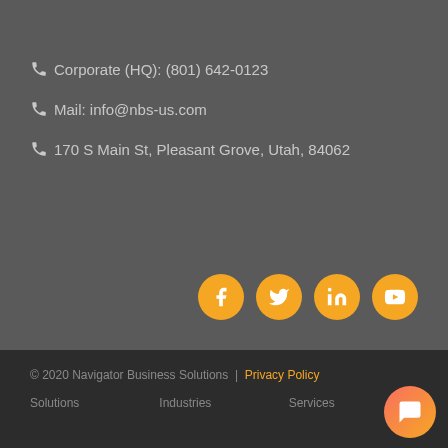Corporate (HQ): (801) 642-0123
Mail: info@nbs-us.com
170 S Main St, Pleasant Grove, Utah, 84062
[Figure (illustration): Social media icons: Facebook, Twitter, LinkedIn, YouTube — orange circles with white icons]
© 2020 Navigator Business Solutions | Privacy Policy
Solutions  Industries  Services